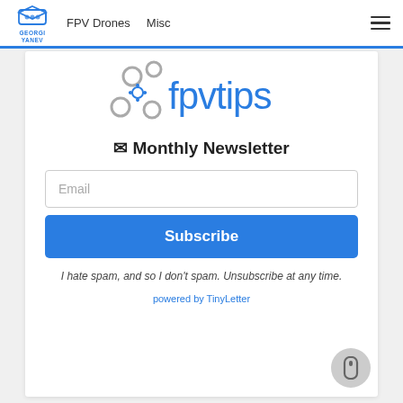FPV Drones  Misc
[Figure (logo): fpvtips logo with circular drone icons and blue fpvtips text]
✉ Monthly Newsletter
Email (input field placeholder)
Subscribe (button)
I hate spam, and so I don't spam. Unsubscribe at any time.
powered by TinyLetter